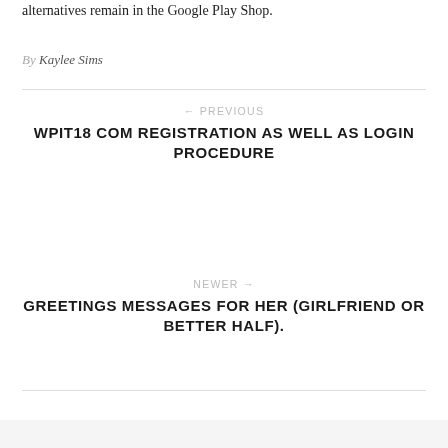alternatives remain in the Google Play Shop.
By Kaylee Sims
← PREVIOUS
WPIT18 COM REGISTRATION AS WELL AS LOGIN PROCEDURE
NEWER →
GREETINGS MESSAGES FOR HER (GIRLFRIEND OR BETTER HALF).